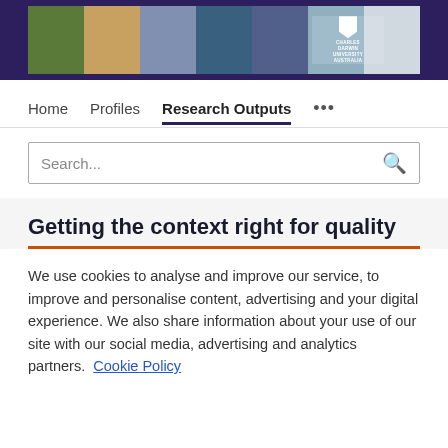[Figure (photo): Charles Darwin University header banner with multiple photos of students and staff engaged in research and learning activities, with CDU logo on the right]
Home   Profiles   Research Outputs   ...
Search...
Getting the context right for quality
We use cookies to analyse and improve our service, to improve and personalise content, advertising and your digital experience. We also share information about your use of our site with our social media, advertising and analytics partners.  Cookie Policy